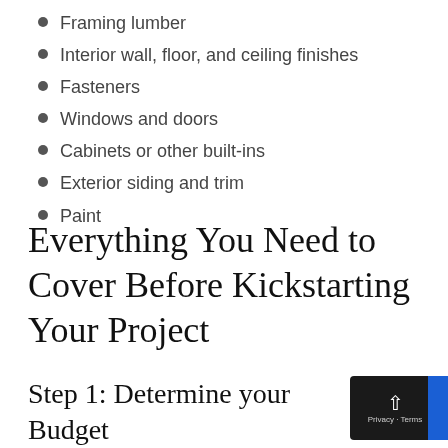Framing lumber
Interior wall, floor, and ceiling finishes
Fasteners
Windows and doors
Cabinets or other built-ins
Exterior siding and trim
Paint
Everything You Need to Cover Before Kickstarting Your Project
Step 1: Determine your Budget